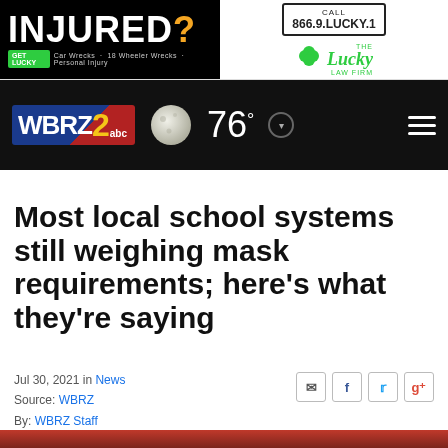[Figure (other): Lucky Law Firm advertisement banner. Large text: INJURED? with a person in a suit. Call 866.9.LUCKY.1. Lucky Law Firm logo with green clover. GET LUCKY badge. Car Wrecks · 18 Wheeler Wrecks · Personal Injury.]
[Figure (other): WBRZ 2 ABC news station navigation bar with moon phase icon, temperature 76°, dropdown button, and hamburger menu on black background.]
Most local school systems still weighing mask requirements; here's what they're saying
Jul 30, 2021 in News
Source: WBRZ
By: WBRZ Staff